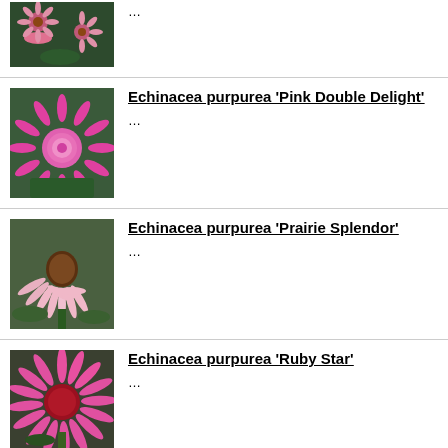[Figure (photo): Pink Echinacea flowers, partial view at top]
…
[Figure (photo): Echinacea purpurea 'Pink Double Delight' - bright pink double-petaled coneflower]
Echinacea purpurea 'Pink Double Delight'
…
[Figure (photo): Echinacea purpurea 'Prairie Splendor' - pale pink drooping petals coneflower]
Echinacea purpurea 'Prairie Splendor'
…
[Figure (photo): Echinacea purpurea 'Ruby Star' - bright pink coneflower with red center]
Echinacea purpurea 'Ruby Star'
…